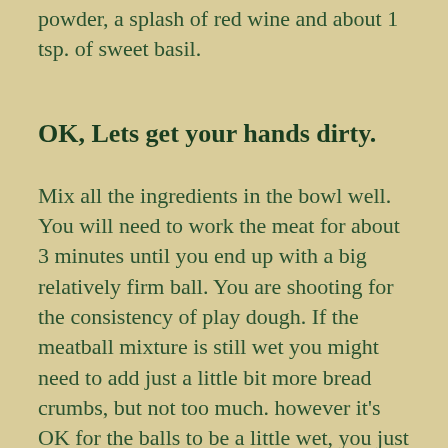powder, a splash of red wine and about 1 tsp. of sweet basil.
OK, Lets get your hands dirty.
Mix all the ingredients in the bowl well. You will need to work the meat for about 3 minutes until you end up with a big relatively firm ball. You are shooting for the consistency of play dough. If the meatball mixture is still wet you might need to add just a little bit more bread crumbs, but not too much. however it’s OK for the balls to be a little wet, you just don’t want the meatball mixture wet to the point of being mushy. Only way I can explain it. You also don’t want the meatballs too dry either. You have to